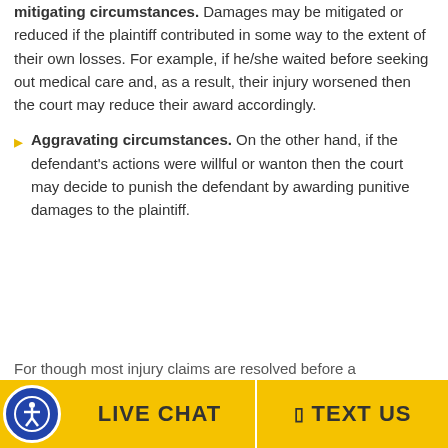Mitigating circumstances. Damages may be mitigated or reduced if the plaintiff contributed in some way to the extent of their own losses. For example, if he/she waited before seeking out medical care and, as a result, their injury worsened then the court may reduce their award accordingly.
Aggravating circumstances. On the other hand, if the defendant's actions were willful or wanton then the court may decide to punish the defendant by awarding punitive damages to the plaintiff.
For though most injury claims are resolved before a
LIVE CHAT   TEXT US